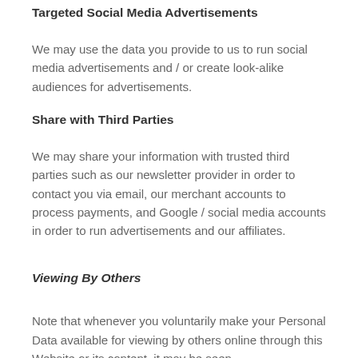Targeted Social Media Advertisements
We may use the data you provide to us to run social media advertisements and / or create look-alike audiences for advertisements.
Share with Third Parties
We may share your information with trusted third parties such as our newsletter provider in order to contact you via email, our merchant accounts to process payments, and Google / social media accounts in order to run advertisements and our affiliates.
Viewing By Others
Note that whenever you voluntarily make your Personal Data available for viewing by others online through this Website or its content, it may be seen,